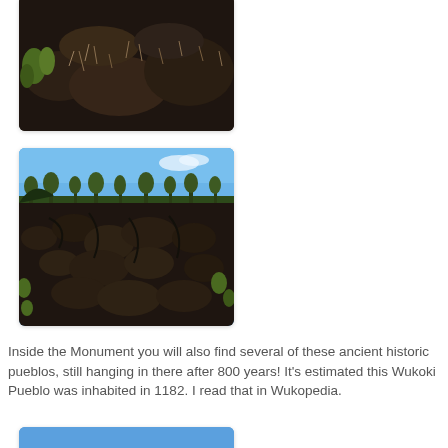[Figure (photo): Partial view of rocky volcanic terrain with dry brush and sparse vegetation on dark lava rock hillside.]
[Figure (photo): Wide view of a rugged lava field under a blue sky with pine trees along the horizon and green scrub brush in the foreground.]
Inside the Monument you will also find several of these ancient historic pueblos, still hanging in there after 800 years! It's estimated this Wukoki Pueblo was inhabited in 1182. I read that in Wukopedia.
[Figure (photo): Bottom portion of a photo showing a bright blue sky, partially visible at the bottom of the page.]